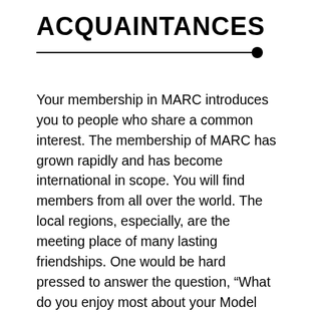ACQUAINTANCES
Your membership in MARC introduces you to people who share a common interest. The membership of MARC has grown rapidly and has become international in scope. You will find members from all over the world. The local regions, especially, are the meeting place of many lasting friendships. One would be hard pressed to answer the question, “What do you enjoy most about your Model “A” Ford?” High on the list of answers would be, “The feeling of belonging and associating with others in a common undertaking, the restoration,